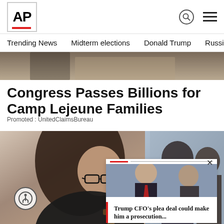AP
Trending News  Midterm elections  Donald Trump  Russia-Ukr
[Figure (photo): Partial view of a person in dark clothing from behind, top strip image]
Congress Passes Billions for Camp Lejeune Families
Promoted : UnitedClaimsBureau
[Figure (photo): Woman with long dark hair and glasses wearing a dark jacket, seated with a gavel visible, legal/courtroom setting]
[Figure (photo): Overlay panel showing Donald Trump in a suit with red tie and another man, with headline: Trump CFO's plea deal could make him a prosecution...]